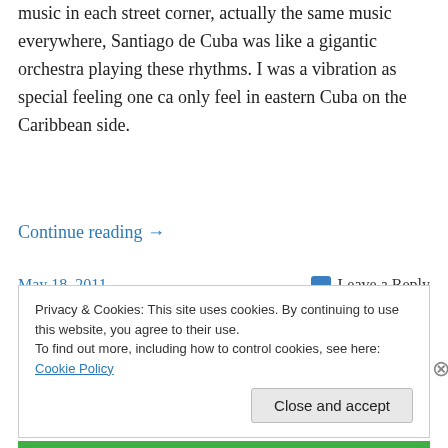music in each street corner, actually the same music everywhere, Santiago de Cuba was like a gigantic orchestra playing these rhythms. I was a vibration as special feeling one ca only feel in eastern Cuba on the Caribbean side.
Continue reading →
May 18, 2011
Leave a Reply
Privacy & Cookies: This site uses cookies. By continuing to use this website, you agree to their use.
To find out more, including how to control cookies, see here: Cookie Policy